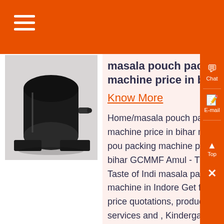☰
[Figure (photo): Photo of a masala pouch packing machine - a black cylindrical/elongated device with accessories on a white background]
masala pouch packing machine price in bihar
Know More
Home/masala pouch packing machine price in bihar masala pouch packing machine price in bihar GCMMF Amul - The Taste of India masala packing machine in Indore Get free price quotations, products, services and , Kindergarten Science Project , All Kinds Of Packaging Materials, Tools And Machinery, Retail Stores For Packaging ....